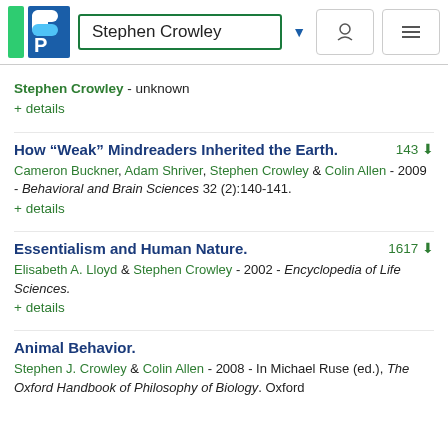Stephen Crowley
Stephen Crowley - unknown
+ details
How “Weak” Mindreaders Inherited the Earth.
Cameron Buckner, Adam Shriver, Stephen Crowley & Colin Allen - 2009 - Behavioral and Brain Sciences 32 (2):140-141.
+ details
Essentialism and Human Nature.
Elisabeth A. Lloyd & Stephen Crowley - 2002 - Encyclopedia of Life Sciences.
+ details
Animal Behavior.
Stephen J. Crowley & Colin Allen - 2008 - In Michael Ruse (ed.), The Oxford Handbook of Philosophy of Biology. Oxford